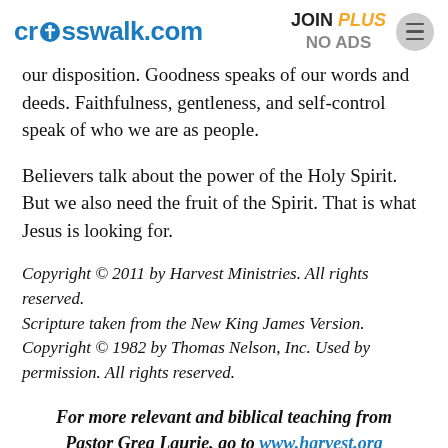crosswalk.com | JOIN PLUS NO ADS
our disposition. Goodness speaks of our words and deeds. Faithfulness, gentleness, and self-control speak of who we are as people.
Believers talk about the power of the Holy Spirit. But we also need the fruit of the Spirit. That is what Jesus is looking for.
Copyright © 2011 by Harvest Ministries. All rights reserved.
Scripture taken from the New King James Version. Copyright © 1982 by Thomas Nelson, Inc. Used by permission. All rights reserved.
For more relevant and biblical teaching from Pastor Greg Laurie, go to www.harvest.org and